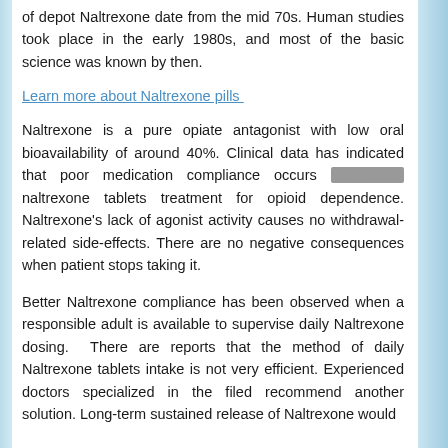of depot Naltrexone date from the mid 70s. Human studies took place in the early 1980s, and most of the basic science was known by then.
Learn more about Naltrexone pills
Naltrexone is a pure opiate antagonist with low oral bioavailability of around 40%. Clinical data has indicated that poor medication compliance occurs with daily naltrexone tablets treatment for opioid dependence. Naltrexone's lack of agonist activity causes no withdrawal-related side-effects. There are no negative consequences when patient stops taking it.
Better Naltrexone compliance has been observed when a responsible adult is available to supervise daily Naltrexone dosing. There are reports that the method of daily Naltrexone tablets intake is not very efficient. Experienced doctors specialized in the filed recommend another solution. Long-term sustained release of Naltrexone would